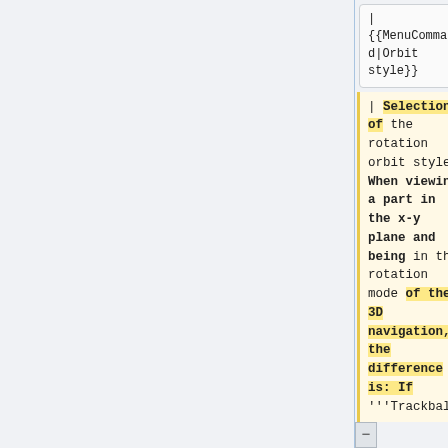| Left (old) | Right (new) |
| --- | --- |
| | {{MenuCommand|Orbit style}} | | {{MenuCommand|Orbit style}} |
| | Selection of the rotation orbit style. When viewing a part in the x-y plane and being in the rotation mode of the 3D navigation, the difference is: If '''Trackball ... | | Specifies the rotation orbit style used when in rotation mode. The options are: |